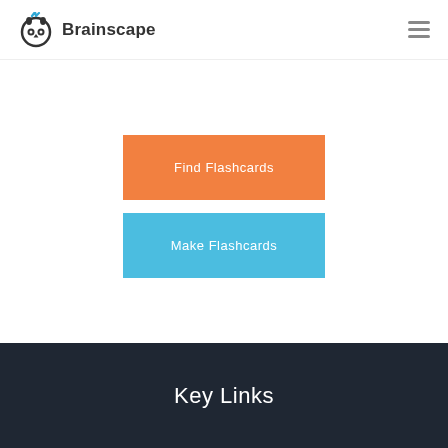[Figure (logo): Brainscape logo with owl icon and text 'Brainscape']
Find Flashcards
Make Flashcards
Key Links